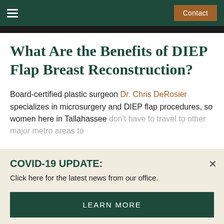Contact
What Are the Benefits of DIEP Flap Breast Reconstruction?
Board-certified plastic surgeon Dr. Chris DeRosier specializes in microsurgery and DIEP flap procedures, so women here in Tallahassee don't have to travel to other major metro areas to enjoy their many benefits. These
COVID-19 UPDATE:
Click here for the latest news from our office.
LEARN MORE
Preservation of abdominal muscles